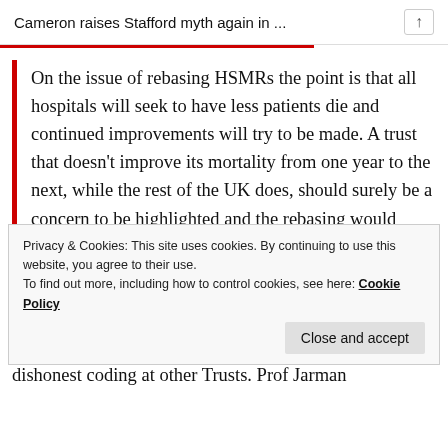Cameron raises Stafford myth again in ...
On the issue of rebasing HSMRs the point is that all hospitals will seek to have less patients die and continued improvements will try to be made. A trust that doesn’t improve its mortality from one year to the next, while the rest of the UK does, should surely be a concern to be highlighted and the rebasing would serve as one method to do this.
Privacy & Cookies: This site uses cookies. By continuing to use this website, you agree to their use.
To find out more, including how to control cookies, see here: Cookie Policy
dishonest coding at other Trusts. Prof Jarman